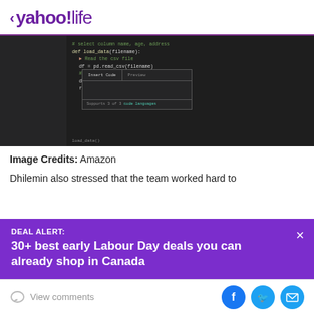< yahoo!life
[Figure (screenshot): Screenshot of a code editor (dark theme) showing Python code with a dialog box overlay containing 'Insert Code' and 'Preview' tabs]
Image Credits: Amazon
Dhilemin also stressed that the team worked hard to
DEAL ALERT:
30+ best early Labour Day deals you can already shop in Canada
View comments